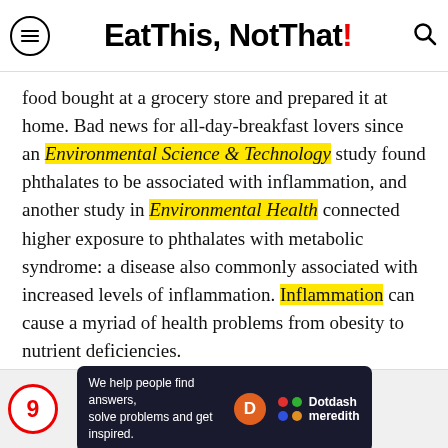Eat This, Not That!
food bought at a grocery store and prepared it at home. Bad news for all-day-breakfast lovers since an Environmental Science & Technology study found phthalates to be associated with inflammation, and another study in Environmental Health connected higher exposure to phthalates with metabolic syndrome: a disease also commonly associated with increased levels of inflammation. Inflammation can cause a myriad of health problems from obesity to nutrient deficiencies.
[Figure (other): Dotdash Meredith advertisement banner: 'We help people find answers, solve problems and get inspired.' with Dotdash Meredith logo]